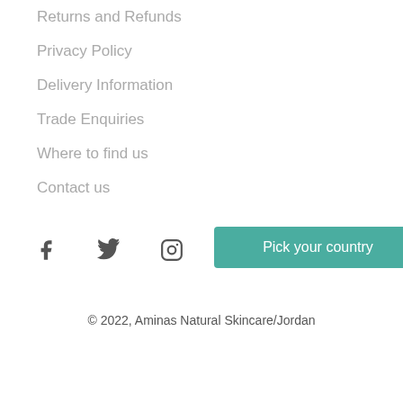Returns and Refunds
Privacy Policy
Delivery Information
Trade Enquiries
Where to find us
Contact us
[Figure (other): Social media icons: Facebook, Twitter, Instagram, YouTube]
Pick your country
© 2022, Aminas Natural Skincare/Jordan